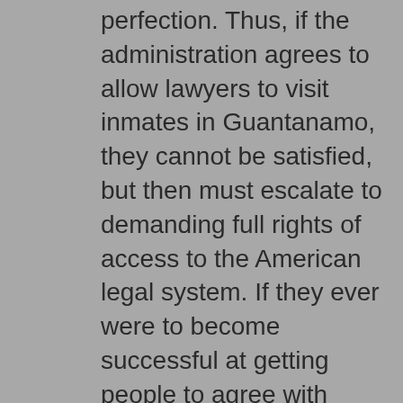perfection. Thus, if the administration agrees to allow lawyers to visit inmates in Guantanamo, they cannot be satisfied, but then must escalate to demanding full rights of access to the American legal system. If they ever were to become successful at getting people to agree with them, their logic insists that the West effectively disarm; we must stop all NSA intercepts, stop monitoring Mosques and other locations, and maintain the inviolability of personal privacy from any government intrusion. Because their true demands are so extreme, they can only face marginalization by pressing their agenda; further, if they truly cared about civil liberties, they would find a way to compromise because the greatest risk to civil liberties would be posed by a second attack on the scale of 9/11 or worse. Were such an attack to occur, all notions of acceptable limits of governmental intrusion would be jettisoned, with the agreement of the vast majority of the American people. In either case, whether they win or lose the current